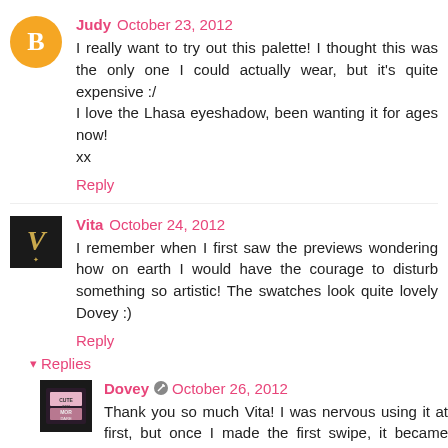[Figure (illustration): Blogger orange circle avatar with white B letter icon]
Judy October 23, 2012
I really want to try out this palette! I thought this was the only one I could actually wear, but it's quite expensive :/ I love the Lhasa eyeshadow, been wanting it for ages now! xx
Reply
[Figure (photo): Dark square avatar with stylized V letter in gold]
Vita October 24, 2012
I remember when I first saw the previews wondering how on earth I would have the courage to disturb something so artistic! The swatches look quite lovely Dovey :)
Reply
▾ Replies
[Figure (photo): Small dark square avatar with CUTE AND MOR DARE text and pink makeup palette image]
Dovey ✎ October 26, 2012
Thank you so much Vita! I was nervous using it at first, but once I made the first swipe, it became easy!